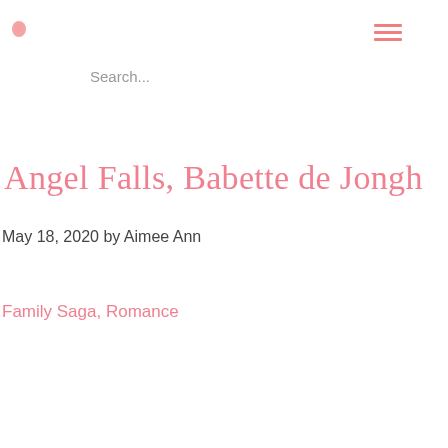[logo icon] [hamburger menu]
Search...
Angel Falls, Babette de Jongh
May 18, 2020 by Aimee Ann
Family Saga, Romance